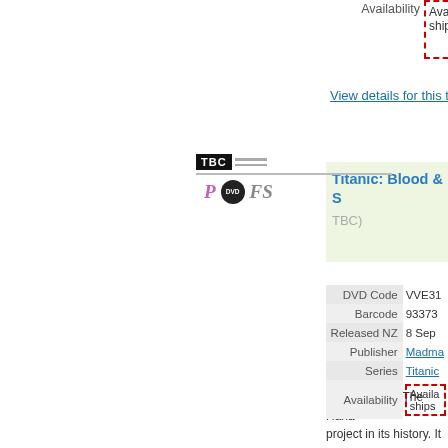Availability
Availability ships
View details for this t
[Figure (other): TBC badge with horizontal lines and icons: P (pink italic), DVD (black circle), FS (grey italic)]
Titanic: Blood & S TBC)
Belfast, 1909. The Harla project in its history. It wi the RMS Titanic. Titanic: legend, and the many liv
Read more
|  |  |
| --- | --- |
| DVD Code | VVE31 |
| Barcode | 93373 |
| Released NZ | 8 Sep |
| Publisher | Madma |
| Series | Titanic |
| Availability | Availability ships |